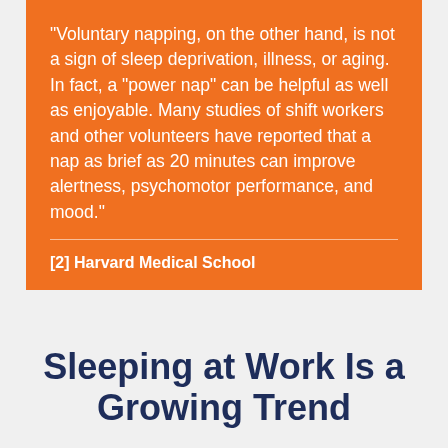“Voluntary napping, on the other hand, is not a sign of sleep deprivation, illness, or aging. In fact, a “power nap” can be helpful as well as enjoyable. Many studies of shift workers and other volunteers have reported that a nap as brief as 20 minutes can improve alertness, psychomotor performance, and mood.”
[2] Harvard Medical School
Sleeping at Work Is a Growing Trend